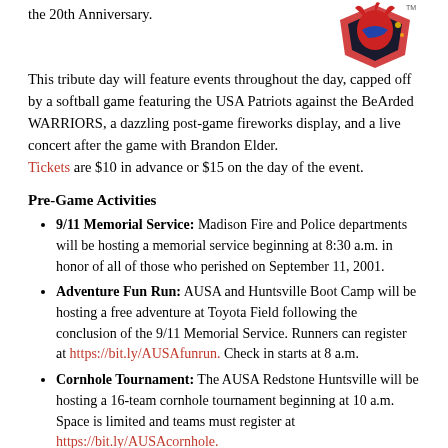the 20th Anniversary.
[Figure (logo): Sports team logo with warrior/patriot theme in red, blue and black]
This tribute day will feature events throughout the day, capped off by a softball game featuring the USA Patriots against the BeArded WARRIORS, a dazzling post-game fireworks display, and a live concert after the game with Brandon Elder. Tickets are $10 in advance or $15 on the day of the event.
Pre-Game Activities
9/11 Memorial Service: Madison Fire and Police departments will be hosting a memorial service beginning at 8:30 a.m. in honor of all of those who perished on September 11, 2001.
Adventure Fun Run: AUSA and Huntsville Boot Camp will be hosting a free adventure at Toyota Field following the conclusion of the 9/11 Memorial Service. Runners can register at https://bit.ly/AUSAfunrun. Check in starts at 8 a.m.
Cornhole Tournament: The AUSA Redstone Huntsville will be hosting a 16-team cornhole tournament beginning at 10 a.m. Space is limited and teams must register at https://bit.ly/AUSAcornhole.
Softball Clinic: The USA Patriots will be hosting a free youth softball clinic from 10:30 a.m. until 1 p.m. with stations including infield and outfield drills, pitching, hitting, and throwing. Registration is open at